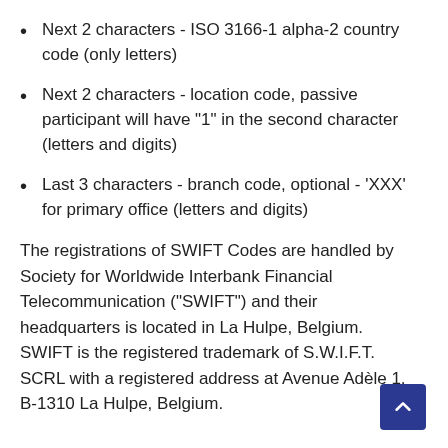Next 2 characters - ISO 3166-1 alpha-2 country code (only letters)
Next 2 characters - location code, passive participant will have "1" in the second character (letters and digits)
Last 3 characters - branch code, optional - 'XXX' for primary office (letters and digits)
The registrations of SWIFT Codes are handled by Society for Worldwide Interbank Financial Telecommunication (“SWIFT”) and their headquarters is located in La Hulpe, Belgium. SWIFT is the registered trademark of S.W.I.F.T. SCRL with a registered address at Avenue Adèle 1, B-1310 La Hulpe, Belgium.